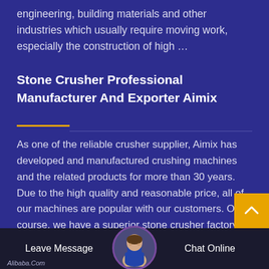engineering, building materials and other industries which usually require moving work, especially the construction of high …
Stone Crusher Professional Manufacturer And Exporter Aimix
As one of the reliable crusher supplier, Aimix has developed and manufactured crushing machines and the related products for more than 30 years. Due to the high quality and reasonable price, all of our machines are popular with our customers. Of course, we have a superior stone crusher factory to manufacture all the popular machines.
Best Quality Mobile Jaw Crusher Aggregates
Leave Message   Chat Online